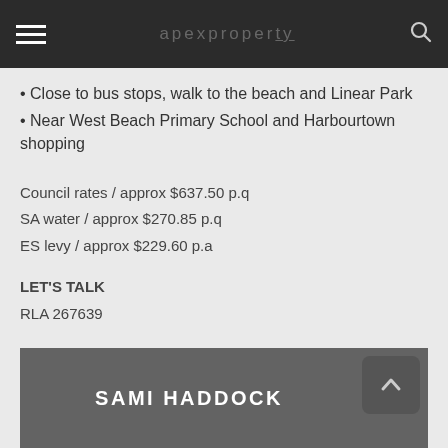Navigation bar with hamburger menu and search icon
Close to bus stops, walk to the beach and Linear Park
Near West Beach Primary School and Harbourtown shopping
Council rates / approx $637.50 p.q
SA water / approx $270.85 p.q
ES levy / approx $229.60 p.a
LET'S TALK
RLA 267639
CONTACT
SAMI HADDOCK